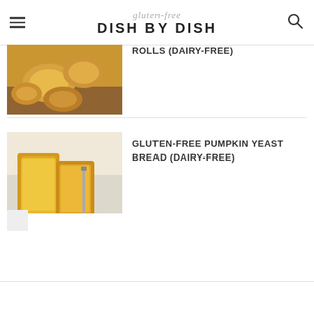gluten-free DISH BY DISH
ROLLS (DAIRY-FREE)
[Figure (photo): Photo of golden pumpkin rolls on a wooden cutting board]
[Figure (photo): Photo of sliced gluten-free pumpkin yeast bread loaf on a white surface with a knife]
GLUTEN-FREE PUMPKIN YEAST BREAD (DAIRY-FREE)